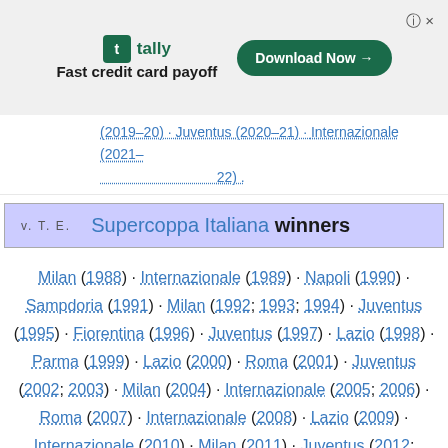[Figure (other): Tally advertisement banner: logo, 'Fast credit card payoff' tagline, Download Now button]
(2019–20) · Juventus (2020–21) · Internazionale (2021–22) .
| v. T. E. | Supercoppa Italiana winners |
Milan (1988) · Internazionale (1989) · Napoli (1990) · Sampdoria (1991) · Milan (1992; 1993; 1994) · Juventus (1995) · Fiorentina (1996) · Juventus (1997) · Lazio (1998) · Parma (1999) · Lazio (2000) · Roma (2001) · Juventus (2002; 2003) · Milan (2004) · Internazionale (2005; 2006) · Roma (2007) · Internazionale (2008) · Lazio (2009) · Internazionale (2010) · Milan (2011) · Juventus (2012; 2013) · Napoli (2014) · Juventus (2015) · Milan (2016) · Lazio (2017) · Juventus (2018) · Lazio (2019) · Juventus